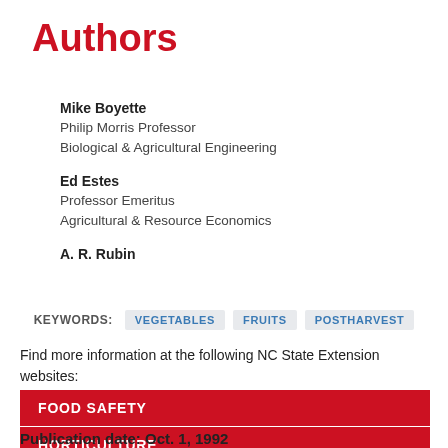Authors
Mike Boyette
Philip Morris Professor
Biological & Agricultural Engineering
Ed Estes
Professor Emeritus
Agricultural & Resource Economics
A. R. Rubin
KEYWORDS: VEGETABLES FRUITS POSTHARVEST
Find more information at the following NC State Extension websites:
FOOD SAFETY
HORTICULTURE
Publication date: Oct. 1, 1992